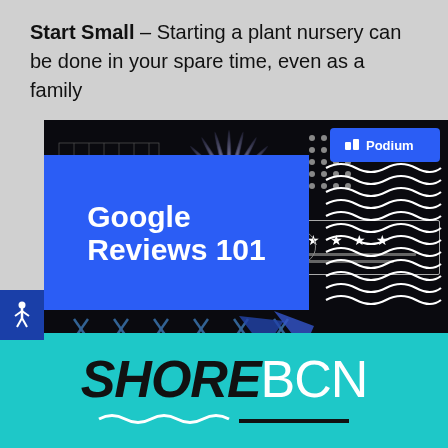Start Small – Starting a plant nursery can be done in your spare time, even as a family
[Figure (infographic): Dark-background promotional graphic for 'Google Reviews 101' by Podium. Contains decorative elements: grid pattern with pink rectangles, starburst/sunburst graphic, dot pattern, Podium blue button logo, five-star rating box, search bar, blue rectangle with 'Google Reviews 101' text, wavy lines pattern, X marks row at bottom.]
[Figure (logo): SHOREBCN logo on teal/cyan background. SHORE in bold black italic, BCN in white regular weight. Wavy underline decoration beneath.]